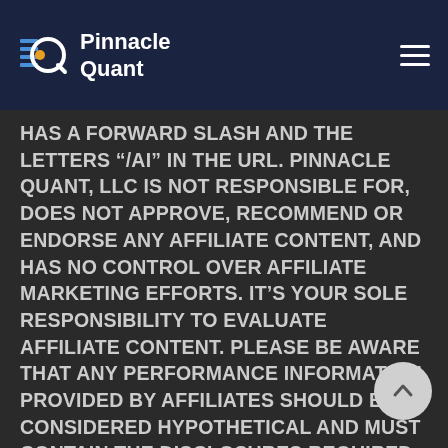Pinnacle Quant
HAS A FORWARD SLASH AND THE LETTERS “/AI” IN THE URL. PINNACLE QUANT, LLC IS NOT RESPONSIBLE FOR, DOES NOT APPROVE, RECOMMEND OR ENDORSE ANY AFFILIATE CONTENT, AND HAS NO CONTROL OVER AFFILIATE MARKETING EFFORTS. IT’S YOUR SOLE RESPONSIBILITY TO EVALUATE AFFILIATE CONTENT. PLEASE BE AWARE THAT ANY PERFORMANCE INFORMATION PROVIDED BY AFFILIATES SHOULD BE CONSIDERED HYPOTHETICAL AND MUST CONTAIN THE DISCLOSURES REQUIRED BY NFA RULE 2-29(C). YOU ARE INTERESTED IN LEARNING MORE ABOUT, OR INVESTIGATING THE QUALITY OF,